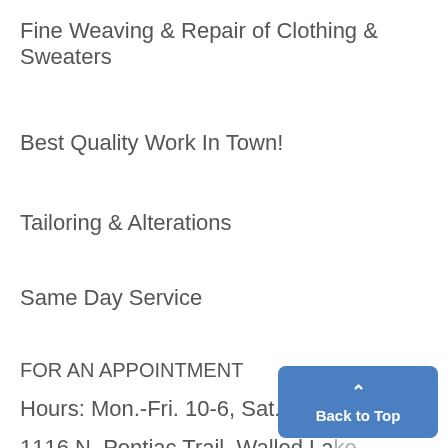Fine Weaving & Repair of Clothing & Sweaters
Best Quality Work In Town!
Tailoring & Alterations
Same Day Service
FOR AN APPOINTMENT
Hours: Mon.-Fri. 10-6, Sat. 10-4
1116 N. Pontiac Trail, Walled Lake
[Figure (other): Blue 'Back to Top' button with upward caret arrow]